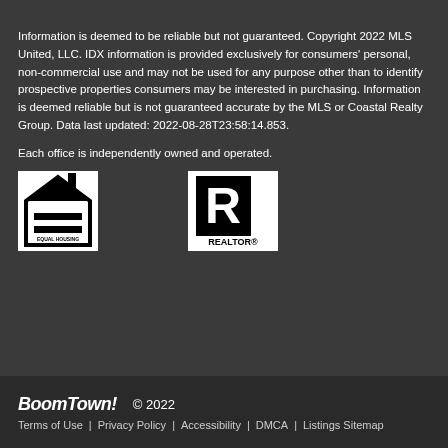Information is deemed to be reliable but not guaranteed. Copyright 2022 MLS United, LLC. IDX information is provided exclusively for consumers' personal, non-commercial use and may not be used for any purpose other than to identify prospective properties consumers may be interested in purchasing. Information is deemed reliable but is not guaranteed accurate by the MLS or Coastal Realty Group. Data last updated: 2022-08-28T23:58:14.853.
Each office is independently owned and operated.
[Figure (logo): Equal Housing Opportunity and REALTOR logos side by side]
BoomTown! © 2022 | Terms of Use | Privacy Policy | Accessibility | DMCA | Listings Sitemap